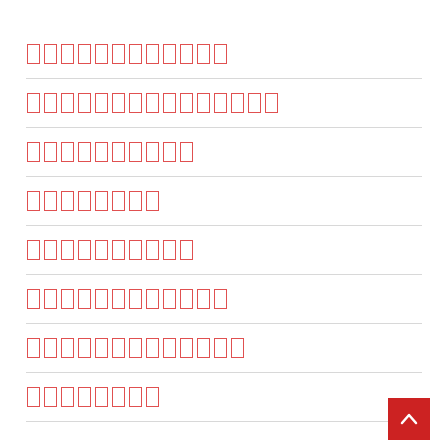[redacted]
[redacted]
[redacted]
[redacted]
[redacted]
[redacted]
[redacted]
[redacted]